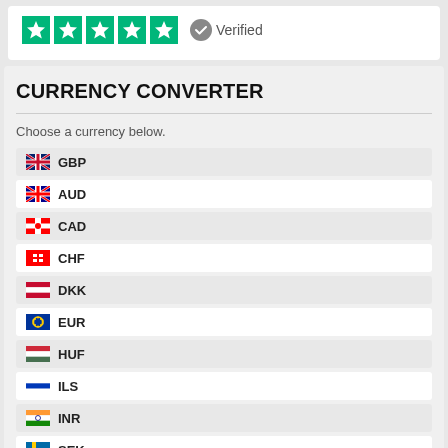[Figure (other): Trustpilot 5-star rating with Verified badge]
CURRENCY CONVERTER
Choose a currency below.
GBP
AUD
CAD
CHF
DKK
EUR
HUF
ILS
INR
SEK
TRY